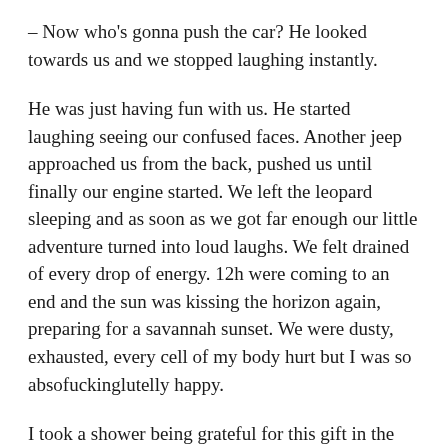– Now who's gonna push the car? He looked towards us and we stopped laughing instantly.
He was just having fun with us. He started laughing seeing our confused faces. Another jeep approached us from the back, pushed us until finally our engine started. We left the leopard sleeping and as soon as we got far enough our little adventure turned into loud laughs. We felt drained of every drop of energy. 12h were coming to an end and the sun was kissing the horizon again, preparing for a savannah sunset. We were dusty, exhausted, every cell of my body hurt but I was so absofuckinglutelly happy.
I took a shower being grateful for this gift in the middle of those dry lands. When I got out I thought I heard something which I didn't wanna believe was true: my whole tent was conquered by a zzzzz-ing. Mosquitos were